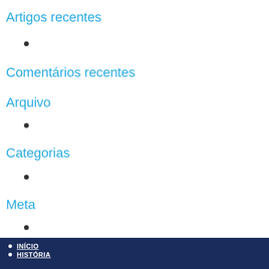Artigos recentes
Comentários recentes
Arquivo
Categorias
Meta
INÍCIO HISTÓRIA